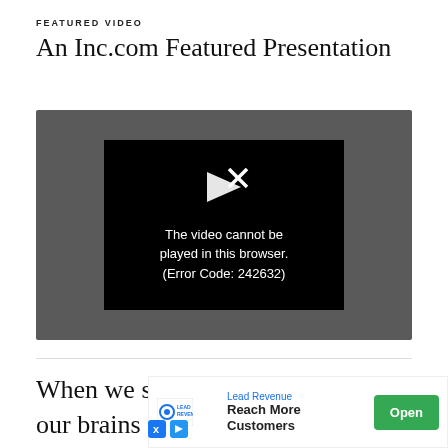FEATURED VIDEO
An Inc.com Featured Presentation
[Figure (screenshot): Video player showing error message: 'The video cannot be played in this browser. (Error Code: 242632)']
When we see a lot of something, our brains judg...
[Figure (infographic): Advertisement banner: Lead Revenue - Reach More Customers - Open button]